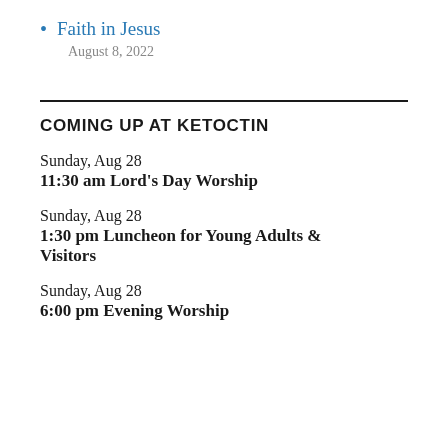Faith in Jesus
August 8, 2022
COMING UP AT KETOCTIN
Sunday, Aug 28
11:30 am Lord's Day Worship
Sunday, Aug 28
1:30 pm Luncheon for Young Adults & Visitors
Sunday, Aug 28
6:00 pm Evening Worship